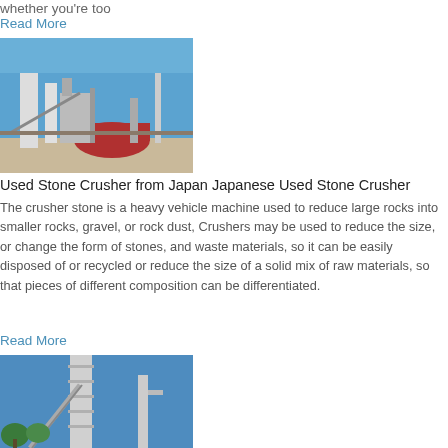whether you're too
Read More
[Figure (photo): Industrial stone crusher facility with tall silos, conveyors, and a red dome-shaped structure against a blue sky.]
Used Stone Crusher from Japan Japanese Used Stone Crusher
The crusher stone is a heavy vehicle machine used to reduce large rocks into smaller rocks, gravel, or rock dust, Crushers may be used to reduce the size, or change the form of stones, and waste materials, so it can be easily disposed of or recycled or reduce the size of a solid mix of raw materials, so that pieces of different composition can be differentiated.
Read More
[Figure (photo): Tall concrete industrial structure or tower with a crane/conveyor against a blue sky with trees visible.]